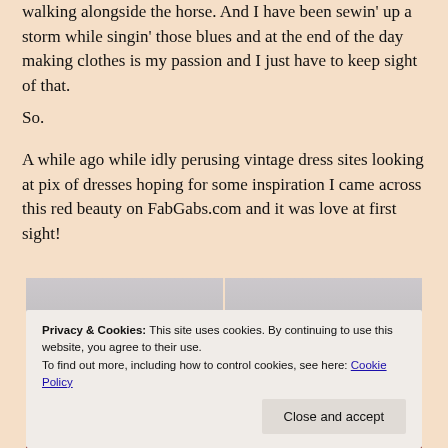walking alongside the horse. And I have been sewin' up a storm while singin' those blues and at the end of the day making clothes is my passion and I just have to keep sight of that.
So.
A while ago while idly perusing vintage dress sites looking at pix of dresses hoping for some inspiration I came across this red beauty on FabGabs.com and it was love at first sight!
[Figure (photo): Two side-by-side photos of women wearing red embroidered vintage dresses with floral decorations at the neckline.]
Privacy & Cookies: This site uses cookies. By continuing to use this website, you agree to their use. To find out more, including how to control cookies, see here: Cookie Policy
Close and accept